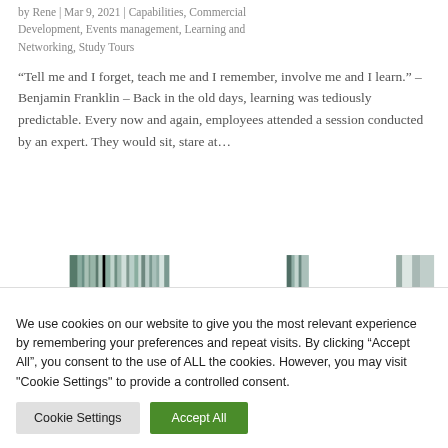by Rene | Mar 9, 2021 | Capabilities, Commercial Development, Events management, Learning and Networking, Study Tours
“Tell me and I forget, teach me and I remember, involve me and I learn.” – Benjamin Franklin – Back in the old days, learning was tediously predictable. Every now and again, employees attended a session conducted by an expert. They would sit, stare at…
[Figure (photo): Partial image strip showing thumbnail images at the bottom of the article]
We use cookies on our website to give you the most relevant experience by remembering your preferences and repeat visits. By clicking “Accept All”, you consent to the use of ALL the cookies. However, you may visit "Cookie Settings" to provide a controlled consent.
Cookie Settings | Accept All